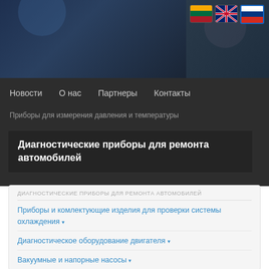[Figure (screenshot): Website header banner with dark blue/grey gradient background showing partial car imagery]
Новости  О нас  Партнеры  Контакты
Приборы для измерения давления и температуры
Диагностические приборы для ремонта автомобилей
ДИАГНОСТИЧЕСКИЕ ПРИБОРЫ ДЛЯ РЕМОНТА АВТОМОБИЛЕЙ
Приборы и комлектующие изделия для проверки системы охлаждения ▾
Диагностическое оборудование двигателя ▾
Вакуумные и напорные насосы ▾
Топливная система тестеры ▾
Тестеры для тормозная система ▾
Приборы для электрооборудование и система зарядки ▾